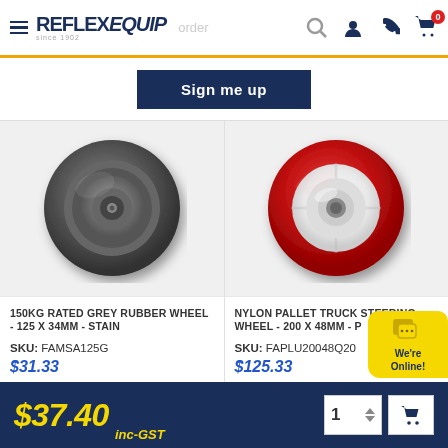Reflex Equip - since 1902
Sign me up
[Figure (photo): 150KG rated grey rubber wheel product photo, 125x34mm, circular grey rubber wheel viewed from the side]
150KG RATED GREY RUBBER WHEEL - 125 X 34MM - STAIN
SKU: FAMSA125G
$31.33
[Figure (photo): Nylon pallet truck steering wheel product photo, 200x48mm, red polyurethane over white nylon core, viewed from the side]
NYLON PALLET TRUCK STEERING WHEEL - 200 X 48MM - P
SKU: FAPLU20048Q20
$125.33
$37.40 inc-GST